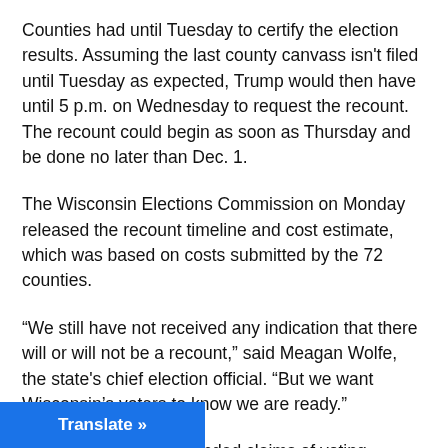Counties had until Tuesday to certify the election results. Assuming the last county canvass isn't filed until Tuesday as expected, Trump would then have until 5 p.m. on Wednesday to request the recount. The recount could begin as soon as Thursday and be done no later than Dec. 1.
The Wisconsin Elections Commission on Monday released the recount timeline and cost estimate, which was based on costs submitted by the 72 counties.
“We still have not received any indication that there will or will not be a recount,” said Meagan Wolfe, the state's chief election official. “But we want Wisconsin’s voters to know we are ready.”
Trump has made unfounded claims of voting irregularities …ough Wisconsin elections officials have